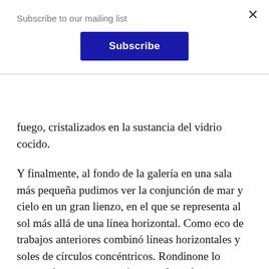Subscribe to our mailing list
Subscribe
fuego, cristalizados en la sustancia del vidrio cocido.
Y finalmente, al fondo de la galería en una sala más pequeña pudimos ver la conjunción de mar y cielo en un gran lienzo, en el que se representa al sol más allá de una línea horizontal. Como eco de trabajos anteriores combinó líneas horizontales y soles de círculos concéntricos. Rondinone lo enmarcó como un espacio mental en el que me atreví a entrar